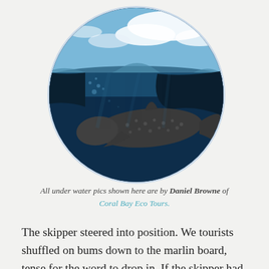[Figure (photo): Circular/oval cropped underwater photo showing a whale shark swimming near the water surface, with blue sky and clouds visible above the waterline, deep blue ocean below.]
All under water pics shown here are by Daniel Browne of Coral Bay Eco Tours.
The skipper steered into position. We tourists shuffled on bums down to the marlin board, tense for the word to drop in. If the skipper had judged right, the whale shark would